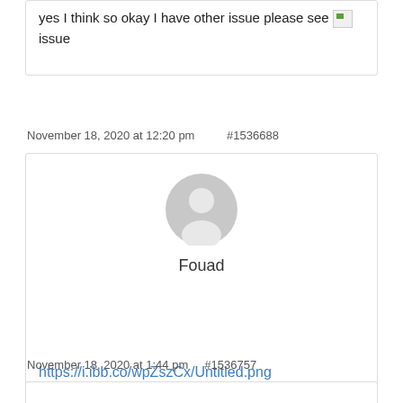yes I think so okay I have other issue please see [image] issue
November 18, 2020 at 12:20 pm   #1536688
[Figure (illustration): User avatar placeholder showing a generic gray person silhouette icon, with username 'Fouad' below it]
https://i.ibb.co/wpZszCx/Untitled.png
November 18, 2020 at 1:44 pm   #1536757